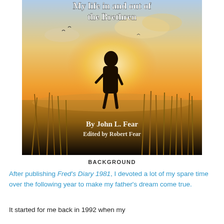[Figure (illustration): Book cover showing a silhouette of a person standing in a golden field at sunset with birds flying. Title text at top reads 'My life in and out of the Brethren'. Author credit reads 'By John L. Fear' and 'Edited by Robert Fear'.]
BACKGROUND
After publishing Fred's Diary 1981, I devoted a lot of my spare time over the following year to make my father's dream come true.
It started for me back in 1992 when my